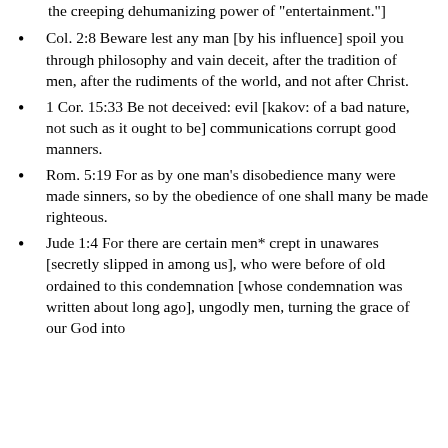the creeping dehumanizing power of "entertainment."]
Col. 2:8 Beware lest any man [by his influence] spoil you through philosophy and vain deceit, after the tradition of men, after the rudiments of the world, and not after Christ.
1 Cor. 15:33 Be not deceived: evil [kakov: of a bad nature, not such as it ought to be] communications corrupt good manners.
Rom. 5:19 For as by one man's disobedience many were made sinners, so by the obedience of one shall many be made righteous.
Jude 1:4 For there are certain men* crept in unawares [secretly slipped in among us], who were before of old ordained to this condemnation [whose condemnation was written about long ago], ungodly men, turning the grace of our God into